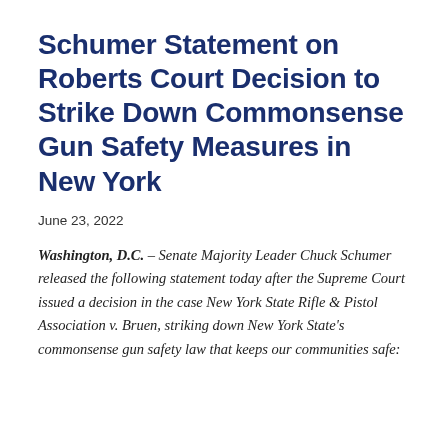Schumer Statement on Roberts Court Decision to Strike Down Commonsense Gun Safety Measures in New York
June 23, 2022
Washington, D.C. – Senate Majority Leader Chuck Schumer released the following statement today after the Supreme Court issued a decision in the case New York State Rifle & Pistol Association v. Bruen, striking down New York State's commonsense gun safety law that keeps our communities safe: